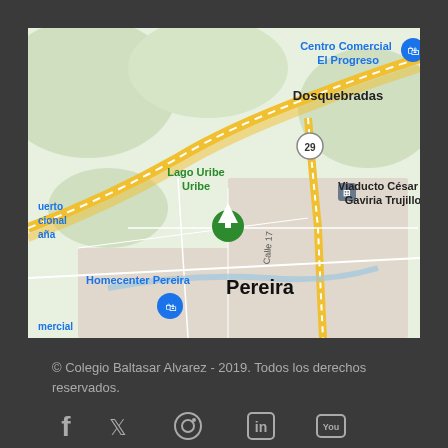[Figure (map): Google Maps screenshot showing Pereira, Colombia area with landmarks including Dosquebradas, Lago Uribe Uribe, Viaducto César Gaviria Trujillo, Homecenter Pereira, and Centro Comercial El Progreso]
© Colegio Baltasar Alvarez - 2019. Todos los derechos reservados.